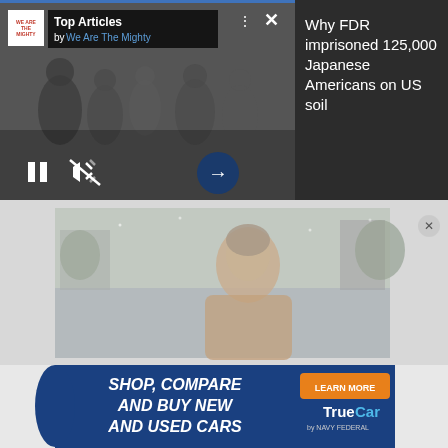[Figure (screenshot): Top Articles widget by We Are The Mighty showing a historical black and white photo of Japanese American children with video playback controls (pause, mute, arrow buttons) and close/dots buttons]
Why FDR imprisoned 125,000 Japanese Americans on US soil
[Figure (screenshot): News video frame showing a male news anchor/reporter in an outdoor urban setting, muted color tones]
[Figure (screenshot): TrueCar by Navy Federal advertisement: SHOP, COMPARE AND BUY NEW AND USED CARS with LEARN MORE button and TrueCar logo]